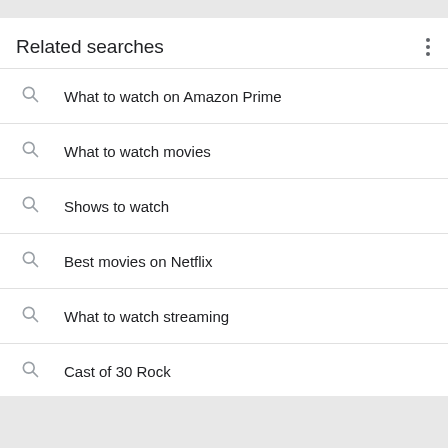Related searches
What to watch on Amazon Prime
What to watch movies
Shows to watch
Best movies on Netflix
What to watch streaming
Cast of 30 Rock